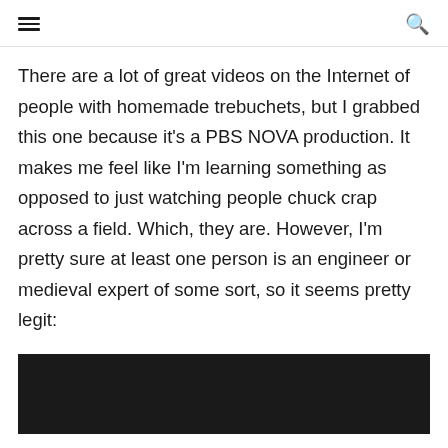[menu icon] [search icon]
There are a lot of great videos on the Internet of people with homemade trebuchets, but I grabbed this one because it's a PBS NOVA production. It makes me feel like I'm learning something as opposed to just watching people chuck crap across a field. Which, they are. However, I'm pretty sure at least one person is an engineer or medieval expert of some sort, so it seems pretty legit:
[Figure (screenshot): Dark/black video placeholder at the bottom of the page]